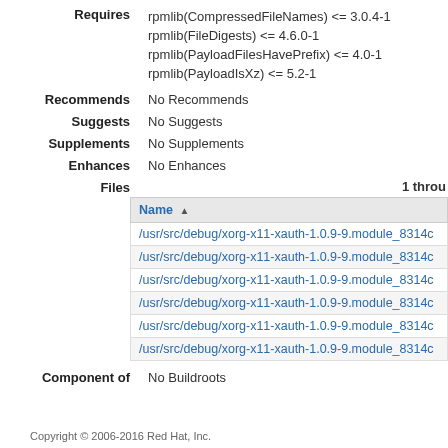Requires: rpmlib(CompressedFileNames) <= 3.0.4-1 | rpmlib(FileDigests) <= 4.6.0-1 | rpmlib(PayloadFilesHavePrefix) <= 4.0-1 | rpmlib(PayloadIsXz) <= 5.2-1
Recommends: No Recommends
Suggests: No Suggests
Supplements: No Supplements
Enhances: No Enhances
Files 1 throu...
| Name ▲ |
| --- |
| /usr/src/debug/xorg-x11-xauth-1.0.9-9.module_8314c... |
| /usr/src/debug/xorg-x11-xauth-1.0.9-9.module_8314c... |
| /usr/src/debug/xorg-x11-xauth-1.0.9-9.module_8314c... |
| /usr/src/debug/xorg-x11-xauth-1.0.9-9.module_8314c... |
| /usr/src/debug/xorg-x11-xauth-1.0.9-9.module_8314c... |
| /usr/src/debug/xorg-x11-xauth-1.0.9-9.module_8314c... |
Component of: No Buildroots
Copyright © 2006-2016 Red Hat, Inc.